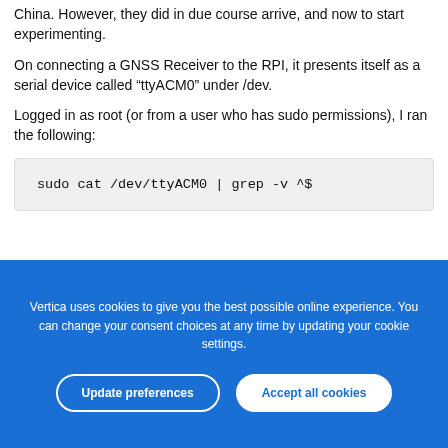China. However, they did in due course arrive, and now to start experimenting.
On connecting a GNSS Receiver to the RPI, it presents itself as a serial device called “ttyACM0” under /dev.
Logged in as root (or from a user who has sudo permissions), I ran the following:
Vertica uses cookies to give you the best possible online experience. You can change your consent choices at any time by updating your cookie settings.